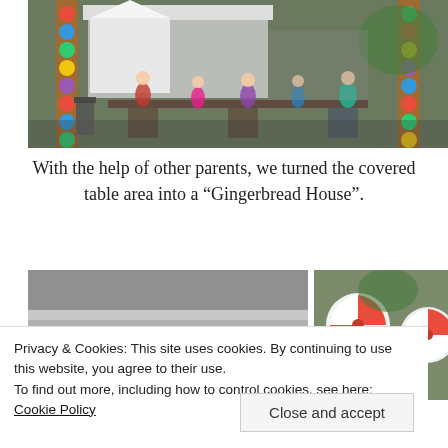[Figure (photo): Outdoor covered picnic/table area decorated with colorful candy-themed columns and a white tent/booth, with children and parents gathered around tables. Trees and playground equipment visible in background.]
With the help of other parents, we turned the covered table area into a “Gingerbread House”.
[Figure (photo): Two side-by-side photos: left shows the metal corrugated roof/eaves of an outdoor covered structure from below; right shows a wall decorated with large red-and-white pinwheel/candy decorations.]
Privacy & Cookies: This site uses cookies. By continuing to use this website, you agree to their use.
To find out more, including how to control cookies, see here: Cookie Policy